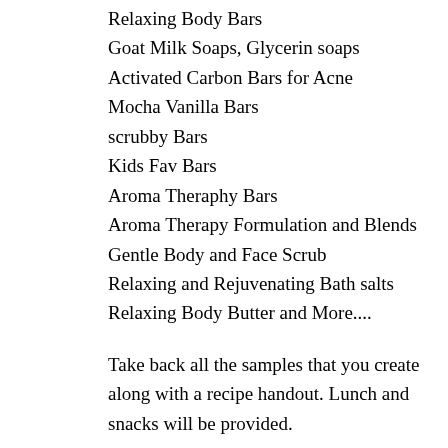Relaxing Body Bars
Goat Milk Soaps, Glycerin soaps
Activated Carbon Bars for Acne
Mocha Vanilla Bars
scrubby Bars
Kids Fav Bars
Aroma Theraphy Bars
Aroma Therapy Formulation and Blends
Gentle Body and Face Scrub
Relaxing and Rejuvenating Bath salts
Relaxing Body Butter and More....
Take back all the samples that you create along with a recipe handout. Lunch and snacks will be provided.